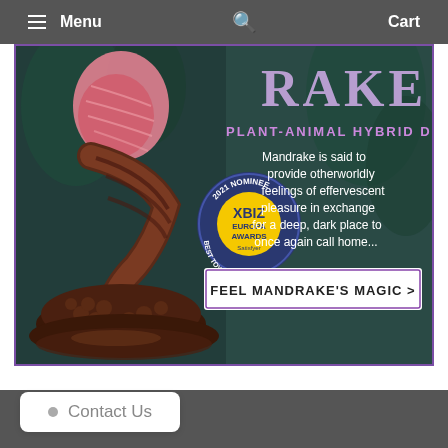Menu  🔍  Cart
[Figure (photo): Banner advertisement for 'Mandrake' plant-animal hybrid dildo product. Shows a sculptural product on left with pink and brown tones, XBIZ Europa Awards 2021 Nominee Best Toy Non Powered badge, text reading 'RAKE PLANT-ANIMAL HYBRID DILDO', descriptive text, and a call-to-action button 'FEEL MANDRAKE'S MAGIC >']
Contact Us